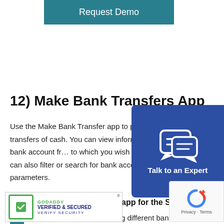[Figure (other): Request Demo button - teal/dark cyan colored button with white text]
12) Make Bank Transfers App
Use the Make Bank Transfer app to perform bank-to-bank transfers of cash. You can view information about the bank account from which to which you wish to transfer. You can also filter or search for bank accounts by several parameters.
With the Make Bank Transfer app for the SAP FICO module, you can –
[Figure (other): Talk to an Expert chat overlay - dark blue rounded box with chat icon and label]
[Figure (other): GoDaddy Verified and Secured badge]
Perform cash transfer among different banks